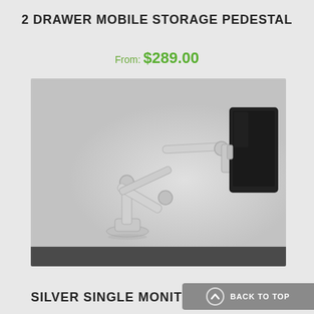2 DRAWER MOBILE STORAGE PEDESTAL
From: $289.00
[Figure (photo): Silver single monitor arm with adjustable arm segments mounted on a round base, holding a large black monitor vertically, photographed against a light grey gradient background.]
SILVER SINGLE MONITO
BACK TO TOP